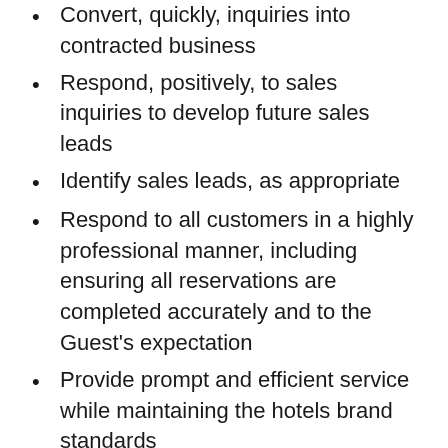Convert, quickly, inquiries into contracted business
Respond, positively, to sales inquiries to develop future sales leads
Identify sales leads, as appropriate
Respond to all customers in a highly professional manner, including ensuring all reservations are completed accurately and to the Guest's expectation
Provide prompt and efficient service while maintaining the hotels brand standards
What are we looking for?
A Reservations Agent serving Hilton brands is always working on behalf of our Guests and working with other Team Members. To successfully fill this role, you should maintain